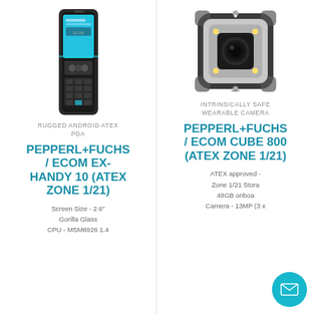[Figure (photo): Rugged Android ATEX PDA device - Pepperl+Fuchs / ecom Ex-Handy 10, front view showing screen and keypad]
RUGGED ANDROID ATEX PDA
PEPPERL+FUCHS / ECOM EX-HANDY 10 (ATEX ZONE 1/21)
Screen Size - 2.6"
Gorilla Glass
CPU - MSM8926 1.4
[Figure (photo): Intrinsically safe wearable camera - Pepperl+Fuchs / ecom Cube 800, square rugged camera with LED flash]
INTRINSICALLY SAFE WEARABLE CAMERA
PEPPERL+FUCHS / ECOM CUBE 800 (ATEX ZONE 1/21)
ATEX approved - Zone 1/21 Storage - 48GB onboard
Camera - 13MP (3 x